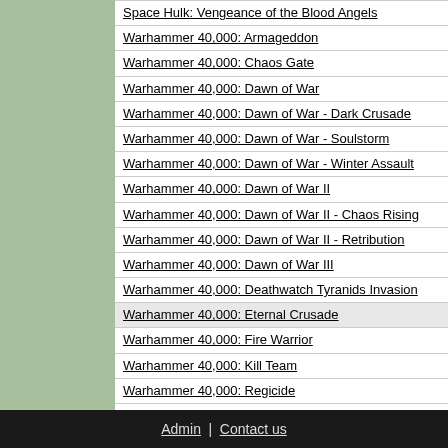Space Hulk: Vengeance of the Blood Angels
Warhammer 40,000: Armageddon
Warhammer 40,000: Chaos Gate
Warhammer 40,000: Dawn of War
Warhammer 40,000: Dawn of War - Dark Crusade
Warhammer 40,000: Dawn of War - Soulstorm
Warhammer 40,000: Dawn of War - Winter Assault
Warhammer 40,000: Dawn of War II
Warhammer 40,000: Dawn of War II - Chaos Rising
Warhammer 40,000: Dawn of War II - Retribution
Warhammer 40,000: Dawn of War III
Warhammer 40,000: Deathwatch Tyranids Invasion
Warhammer 40,000: Eternal Crusade
Warhammer 40,000: Fire Warrior
Warhammer 40,000: Kill Team
Warhammer 40,000: Regicide
Warhammer 40,000: Sanctus Reach
Warhammer 40,000: Space Marine
Warhammer 40,000: Space Wolf
Warhammer 40,000: Squad Command
Warhammer 40,000: Storm of Vengeance
Admin | Contact us